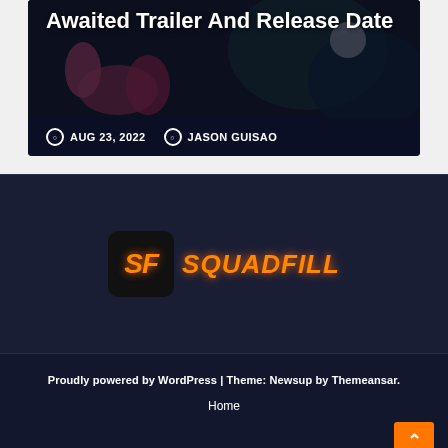[Figure (photo): Card with dark background showing scene. Title overlay reads 'Awaited Trailer And Release Date'. Date and author metadata below.]
Awaited Trailer And Release Date
AUG 23, 2022   JASON GUISAO
[Figure (logo): SquadFill logo: black rounded square with stylized 'SF' in orange italic, followed by 'SquadFill' text in orange italic]
Proudly powered by WordPress | Theme: Newsup by Themeansar.
Home